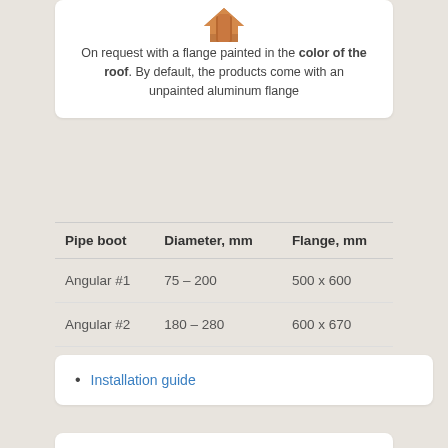[Figure (illustration): Brown/orange angular pipe boot product illustration, top portion visible]
On request with a flange painted in the color of the roof. By default, the products come with an unpainted aluminum flange
| Pipe boot | Diameter, mm | Flange, mm |
| --- | --- | --- |
| Angular #1 | 75 – 200 | 500 x 600 |
| Angular #2 | 180 – 280 | 600 x 670 |
| Angular #3 | 280 – 460 | 890 x 890 |
Installation guide